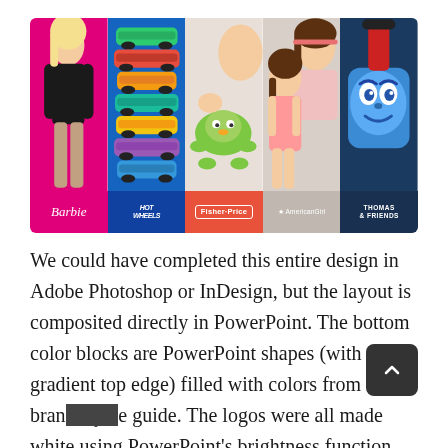[Figure (illustration): Composite brand image showing five Mattel toy brands side by side: Barbie (pink panel with Barbie doll), Hot Wheels (blue panel with stacked toy cars), Fisher-Price (red panel with toy robot and baby), American Girl (gray panel with American Girl doll and girl), Thomas & Friends (dark blue panel with Thomas the tank engine). Each panel has a colored bottom strip with the brand logo in white.]
We could have completed this entire design in Adobe Photoshop or InDesign, but the layout is composited directly in PowerPoint. The bottom color blocks are PowerPoint shapes (with a gradient top edge) filled with colors from the brand style guide. The logos were all made white using PowerPoint's brightness function. The brand